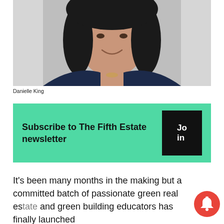[Figure (photo): Headshot of Danielle King, a woman with dark hair wearing a dark navy blazer, smiling against a white/grey background.]
Danielle King
Subscribe to The Fifth Estate newsletter  Join
It's been many months in the making but a committed batch of passionate green real es... and green building educators has finally launched